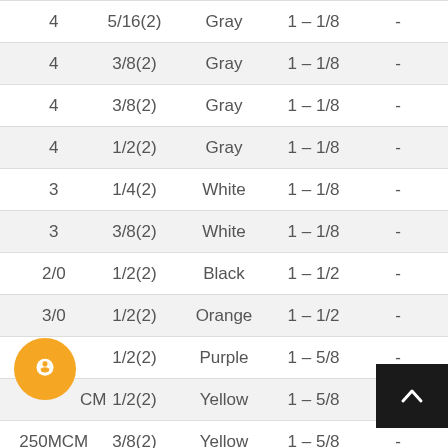| 4 | 5/16(2) | Gray | 1 – 1/8 | - |
| 4 | 3/8(2) | Gray | 1 – 1/8 | - |
| 4 | 3/8(2) | Gray | 1 – 1/8 | - |
| 4 | 1/2(2) | Gray | 1 – 1/8 | - |
| 3 | 1/4(2) | White | 1 – 1/8 | - |
| 3 | 3/8(2) | White | 1 – 1/8 | - |
| 2/0 | 1/2(2) | Black | 1 – 1/2 | - |
| 3/0 | 1/2(2) | Orange | 1 – 1/2 | - |
| 4/0 | 1/2(2) | Purple | 1 – 5/8 | - |
| 250MCM | 1/2(2) | Yellow | 1 – 5/8 | - |
| 250MCM | 3/8(2) | Yellow | 1 – 5/8 | - |